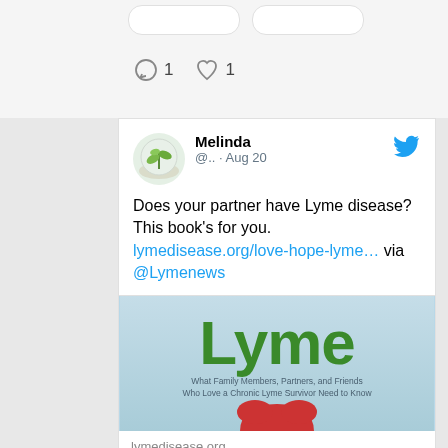[Figure (screenshot): Top portion of a social media interface showing rounded rectangle buttons and reaction icons (comment icon with count 1, heart icon with count 1)]
[Figure (screenshot): Tweet by Melinda (@.. · Aug 20) with Twitter bird logo, avatar showing a plant in a globe. Tweet text: Does your partner have Lyme disease? This book's for you. lymedisease.org/love-hope-lyme… via @Lymenews. Includes a link preview card with a book cover image showing 'Lyme' in green text on light blue background with subtitle 'What Family Members, Partners, and Friends Who Love a Chronic Lyme Survivor Need to Know' and a red heart/book shape. Preview shows domain lymedisease.org and title 'Does your partner have Lyme disease? This book'...]